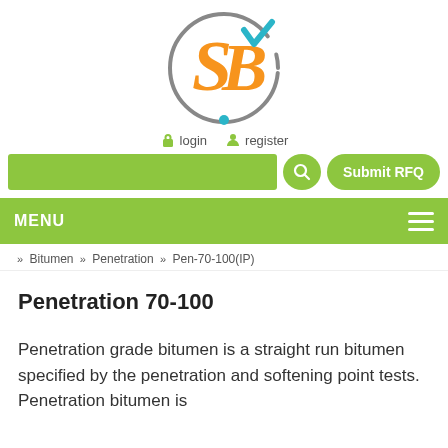[Figure (logo): SB logo: orange stylized S and B letters inside a gray circle with a teal checkmark, and a teal dot at bottom]
login  register
[Figure (screenshot): Green search bar with search button and Submit RFQ button]
MENU
» Bitumen » Penetration » Pen-70-100(IP)
Penetration 70-100
Penetration grade bitumen is a straight run bitumen specified by the penetration and softening point tests. Penetration bitumen is